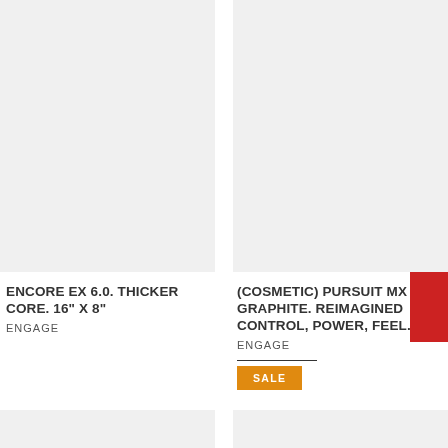[Figure (photo): Product image placeholder – grey rectangle for Encore EX 6.0 paddle (left column)]
[Figure (photo): Product image placeholder – grey rectangle for Pursuit MX Graphite paddle (right column)]
ENCORE EX 6.0. THICKER CORE. 16" X 8"
ENGAGE
(COSMETIC) PURSUIT MX GRAPHITE. REIMAGINED CONTROL, POWER, FEEL.
ENGAGE
SALE
[Figure (photo): Partial product image placeholder – bottom left]
[Figure (photo): Partial product image placeholder – bottom right]